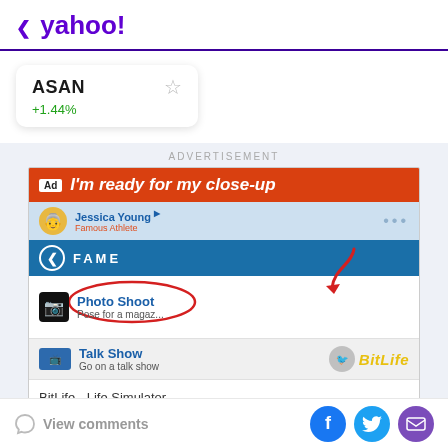< yahoo!
ASAN +1.44%
ADVERTISEMENT
[Figure (screenshot): BitLife - Life Simulator advertisement showing 'I'm ready for my close-up' with a game interface featuring Jessica Young (Famous Athlete), FAME menu, Photo Shoot option (circled with red arrow), Talk Show option, and BitLife logo.]
BitLife - Life Simulator
View comments
[Figure (infographic): Social sharing icons: Facebook (blue), Twitter (cyan), Email (purple)]